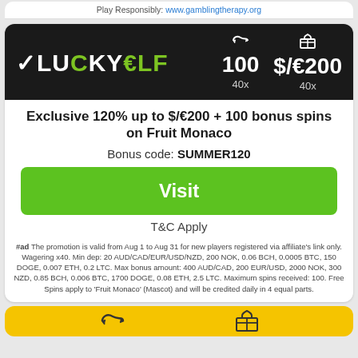Play Responsibly: www.gamblingtherapy.org
[Figure (screenshot): Lucky Elf Casino banner with logo, 100 free spins and $/€200 bonus, both with 40x wagering]
Exclusive 120% up to $/€200 + 100 bonus spins on Fruit Monaco
Bonus code: SUMMER120
Visit
T&C Apply
#ad The promotion is valid from Aug 1 to Aug 31 for new players registered via affiliate's link only. Wagering x40. Min dep: 20 AUD/CAD/EUR/USD/NZD, 200 NOK, 0.06 BCH, 0.0005 BTC, 150 DOGE, 0.007 ETH, 0.2 LTC. Max bonus amount: 400 AUD/CAD, 200 EUR/USD, 2000 NOK, 300 NZD, 0.85 BCH, 0.006 BTC, 1700 DOGE, 0.08 ETH, 2.5 LTC. Maximum spins received: 100. Free Spins apply to 'Fruit Monaco' (Mascot) and will be credited daily in 4 equal parts.